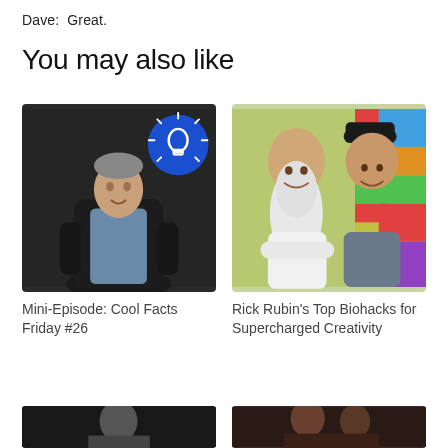Dave:  Great.
You may also like
[Figure (photo): Photo of a smiling man sitting in a dark leather chair, with a blue circle lightbulb icon overlay in the upper right corner of the image]
Mini-Episode: Cool Facts Friday #26
[Figure (photo): Photo of two men smiling outdoors, one with a long white beard wearing a white t-shirt, the other in a dark baseball cap and grey vest, colorful background]
Rick Rubin's Top Biohacks for Supercharged Creativity
[Figure (photo): Partial thumbnail image at bottom left, dark toned]
[Figure (photo): Partial thumbnail image at bottom right, dark toned]